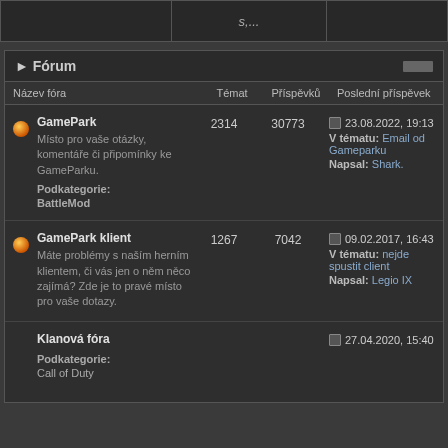| Název fóra | Témat | Příspěvků | Poslední příspěvek |
| --- | --- | --- | --- |
| GamePark
Místo pro vaše otázky, komentáře či připomínky ke GameParku.
Podkategorie: BattleMod | 2314 | 30773 | 23.08.2022, 19:13
V tématu: Email od Gameparku
Napsal: Shark. |
| GamePark klient
Máte problémy s naším herním klientem, či vás jen o něm něco zajímá? Zde je to pravé místo pro vaše dotazy. | 1267 | 7042 | 09.02.2017, 16:43
V tématu: nejde spustit client
Napsal: Legio IX |
| Klanová fóra
Podkategorie: Call of Duty |  |  | 27.04.2020, 15:40 |